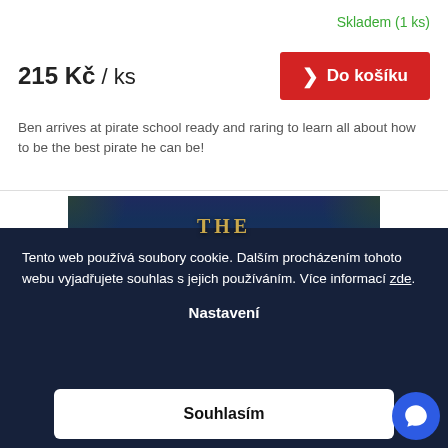Skladem (1 ks)
215 Kč / ks
Do košíku
Ben arrives at pirate school ready and raring to learn all about how to be the best pirate he can be!
[Figure (illustration): Dark blue book cover with gold text reading THE]
Tento web používá soubory cookie. Dalším procházením tohoto webu vyjadřujete souhlas s jejich používáním. Více informací zde.
Nastavení
Souhlasím